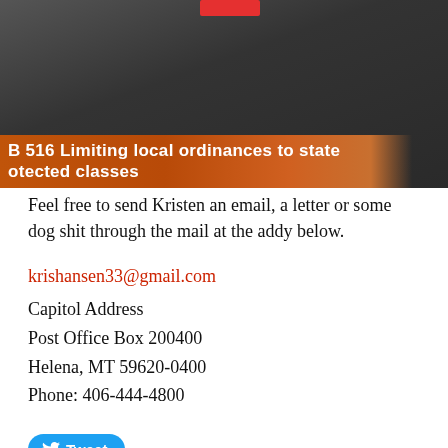[Figure (screenshot): Video screenshot of a legislative hearing with a lower-third graphic reading 'SB 516 Limiting local ordinances to state protected classes' on an orange/brown banner. A red badge appears near the top center. The background shows a person at what appears to be a legislative hearing table.]
Feel free to send Kristen an email, a letter or some dog shit through the mail at the addy below.
krishansen33@gmail.com
Capitol Address
Post Office Box 200400
Helena, MT 59620-0400
Phone: 406-444-4800
[Figure (other): Tweet button - blue rounded rectangle with Twitter bird icon and 'Tweet' label]